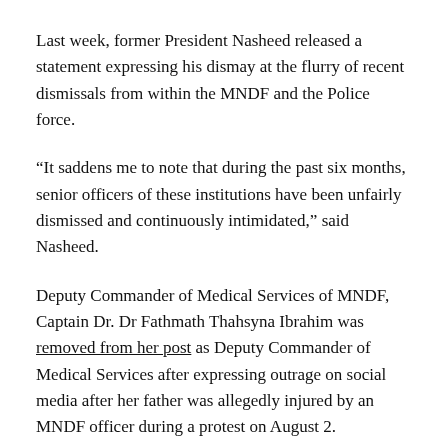Last week, former President Nasheed released a statement expressing his dismay at the flurry of recent dismissals from within the MNDF and the Police force.
“It saddens me to note that during the past six months, senior officers of these institutions have been unfairly dismissed and continuously intimidated,” said Nasheed.
Deputy Commander of Medical Services of MNDF, Captain Dr. Dr Fathmath Thahsyna Ibrahim was removed from her post as Deputy Commander of Medical Services after expressing outrage on social media after her father was allegedly injured by an MNDF officer during a protest on August 2.
In an excerpt from Wednesday night’s speech